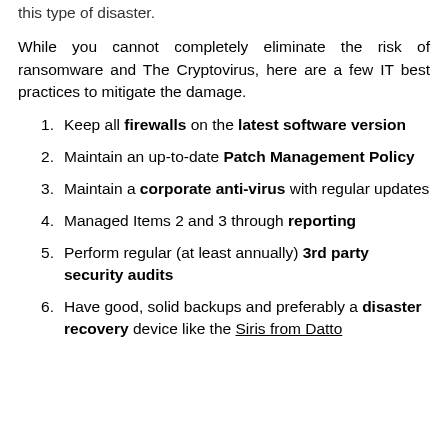this type of disaster.
While you cannot completely eliminate the risk of ransomware and The Cryptovirus, here are a few IT best practices to mitigate the damage.
Keep all firewalls on the latest software version
Maintain an up-to-date Patch Management Policy
Maintain a corporate anti-virus with regular updates
Managed Items 2 and 3 through reporting
Perform regular (at least annually) 3rd party security audits
Have good, solid backups and preferably a disaster recovery device like the Siris from Datto